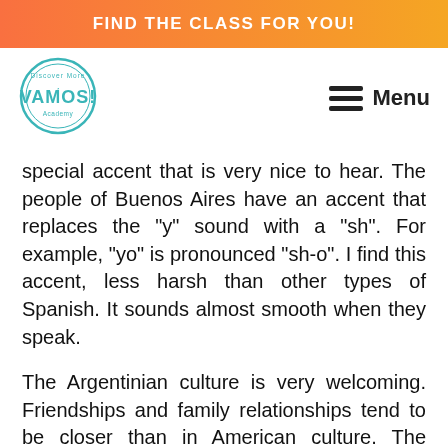FIND THE CLASS FOR YOU!
[Figure (logo): Vamos Academy circular logo with teal border and text 'Discover More ¡VAMOS! Academy']
Menu
special accent that is very nice to hear. The people of Buenos Aires have an accent that replaces the "y" sound with a "sh". For example, "yo" is pronounced "sh-o". I find this accent, less harsh than other types of Spanish. It sounds almost smooth when they speak.
The Argentinian culture is very welcoming. Friendships and family relationships tend to be closer than in American culture. The advantage of being in a big city like Buenos Aires is that there are many ways to meet